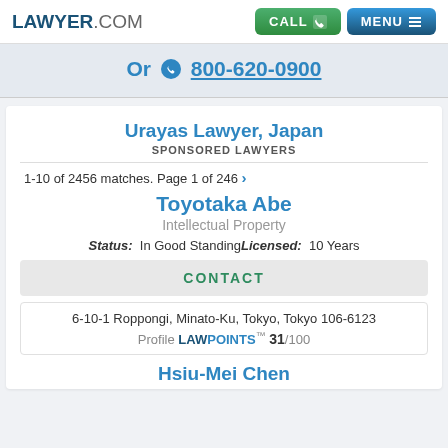LAWYER.COM | CALL | MENU
Or ☎ 800-620-0900
Urayas Lawyer, Japan
SPONSORED LAWYERS
1-10 of 2456 matches. Page 1 of 246 >
Toyotaka Abe
Intellectual Property
Status: In Good Standing Licensed: 10 Years
CONTACT
6-10-1 Roppongi, Minato-Ku, Tokyo, Tokyo 106-6123
Profile LAWPOINTS™ 31/100
Hsiu-Mei Chen